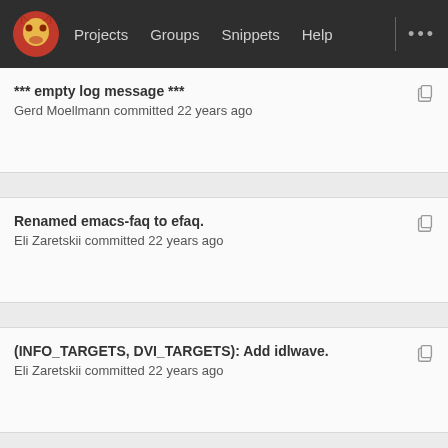Projects  Groups  Snippets  Help
*** empty log message ***
Gerd Moellmann committed 22 years ago
Renamed emacs-faq to efaq.
Eli Zaretskii committed 22 years ago
(INFO_TARGETS, DVI_TARGETS): Add idlwave.
Eli Zaretskii committed 22 years ago
*** empty log message ***
Dave Love committed 22 years ago